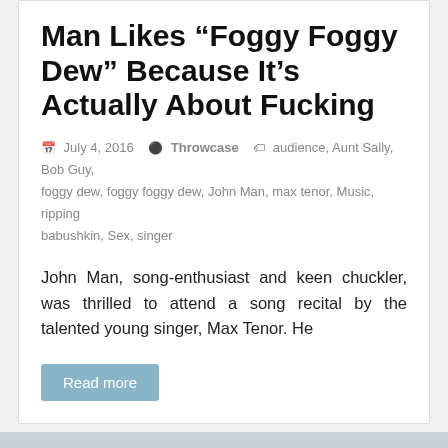Man Likes “Foggy Foggy Dew” Because It’s Actually About Fucking
July 4, 2016  Throwcase  audience, Aunt Sally, Bob Guy, foggy dew, foggy foggy dew, John Man, max tenor, Music, ripping babushkin, Sex, singer
John Man, song-enthusiast and keen chuckler, was thrilled to attend a song recital by the talented young singer, Max Tenor. He
Read more
[Figure (photo): Photograph showing an elderly person with grey hair, a plant on the left side, and a dark panel/screen on the right side]